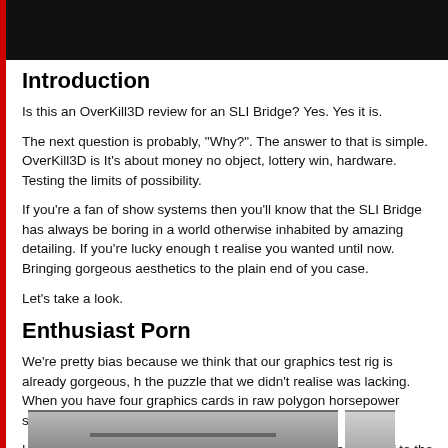[Figure (photo): Black header banner at the top of the page]
Introduction
Is this an OverKill3D review for an SLI Bridge? Yes. Yes it is.
The next question is probably, "Why?". The answer to that is simple. OverKill3D is It's about money no object, lottery win, hardware. Testing the limits of possibility.
If you're a fan of show systems then you'll know that the SLI Bridge has always be boring in a world otherwise inhabited by amazing detailing. If you're lucky enough t realise you wanted until now. Bringing gorgeous aesthetics to the plain end of you case.
Let's take a look.
Enthusiast Porn
We're pretty bias because we think that our graphics test rig is already gorgeous, h the puzzle that we didn't realise was lacking. When you have four graphics cards in raw polygon horsepower stuffed into the case.
However, what was once a simple black bit of PCB hanging off to the side is now a GTX Gaming graphics cards and X99 Carbon motherboard. If black and red is you International then you cannot help but be blown away at how much of an improven
Pretty, isn't it.
[Figure (photo): Partial photo of hardware/graphics card setup at the bottom of the page]